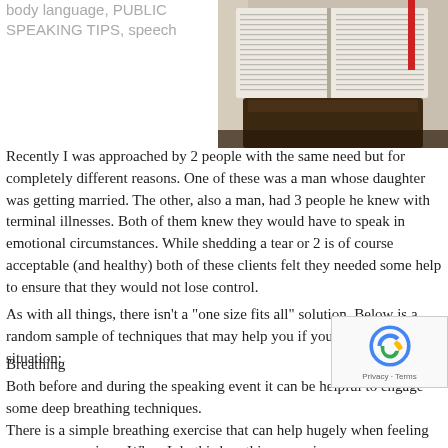body language, PUBLIC SPEAKING TIPS, speech
[Figure (photo): Open Bible on a wooden lectern/pulpit with a red ribbon bookmark, photographed in a church setting]
Recently I was approached by 2 people with the same need but for completely different reasons. One of these was a man whose daughter was getting married. The other, also a man, had 3 people he knew with terminal illnesses. Both of them knew they would have to speak in emotional circumstances. While shedding a tear or 2 is of course acceptable (and healthy) both of these clients felt they needed some help to ensure that they would not lose control.
As with all things, there isn’t a “one size fits all” solution. Below is a random sample of techniques that may help you if you are in a similar situation:
Breathing
Both before and during the speaking event it can be helpful to engage some deep breathing techniques.
There is a simple breathing exercise that can help hugely when feeling nervous or anxious. When I do this breathing exercise